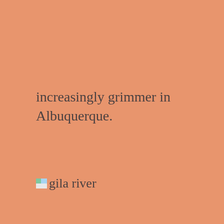increasingly grimmer in Albuquerque.
[Figure (other): Small broken image icon followed by the text 'gila river']